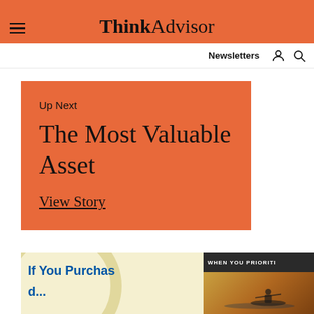ThinkAdvisor
Newsletters
Up Next
The Most Valuable Asset
View Story
[Figure (screenshot): Advertisement banner at the bottom: left side shows 'If You Purchas...' text in blue on yellow background with circular design; right side shows image of person kayaking at sunset with dark overlay text 'WHEN YOU PRIORITI']